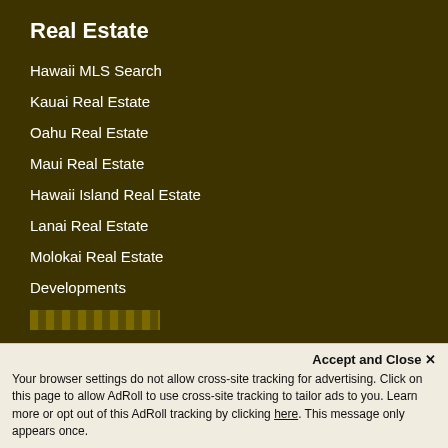Real Estate
Hawaii MLS Search
Kauai Real Estate
Oahu Real Estate
Maui Real Estate
Hawaii Island Real Estate
Lanai Real Estate
Molokai Real Estate
Developments
[redacted]
Long Term Rentals
Vacation Rentals
Vacation Rentals
Long Term Rentals
Accept and Close ✕ Your browser settings do not allow cross-site tracking for advertising. Click on this page to allow AdRoll to use cross-site tracking to tailor ads to you. Learn more or opt out of this AdRoll tracking by clicking here. This message only appears once.